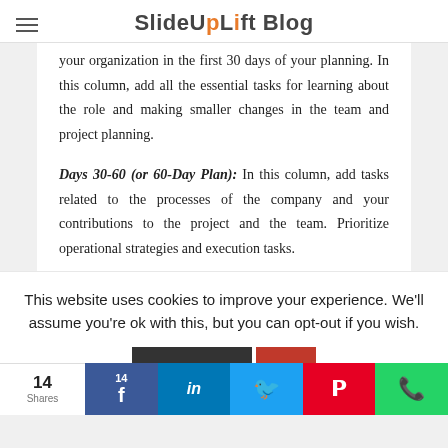SlideUpLift Blog
your organization in the first 30 days of your planning. In this column, add all the essential tasks for learning about the role and making smaller changes in the team and project planning.
Days 30-60 (or 60-Day Plan): In this column, add tasks related to the processes of the company and your contributions to the project and the team. Prioritize operational strategies and execution tasks.
This website uses cookies to improve your experience. We'll assume you're ok with this, but you can opt-out if you wish.
14 Shares | 14 Facebook | in LinkedIn | Twitter | Pinterest | WhatsApp